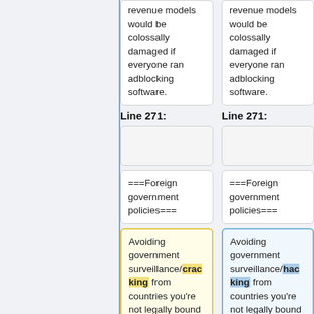revenue models would be colossally damaged if everyone ran adblocking software.
revenue models would be colossally damaged if everyone ran adblocking software.
Line 271:
Line 271:
===Foreign government policies===
===Foreign government policies===
Avoiding government surveillance/cracking from countries you're not legally bound to is essentially the same as
Avoiding government surveillance/hacking from countries you're not legally bound to is essentially the same as